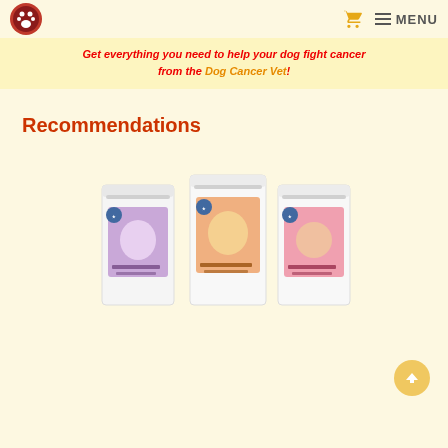Dog Cancer Vet - navigation header with logo, cart icon, and MENU
Get everything you need to help your dog fight cancer from the Dog Cancer Vet!
Recommendations
[Figure (photo): Three white stand-up pouches of K9 Immunity dog supplement products side by side. Left pouch has purple/lavender accents with a small white dog, middle pouch has orange/salmon accents with a golden retriever dog, right pouch has pink accents with a dachshund dog. Each pouch shows a blue ribbon award badge.]